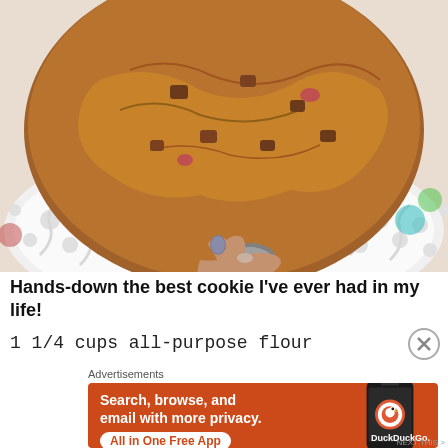[Figure (photo): Close-up photo of a large chocolate chip cookie on a decorative white plate, with a hand holding a spoon, placed on a colorful surface]
Hands-down the best cookie I've ever had in my life!
1 1/4 cups all-purpose flour
Advertisements
[Figure (screenshot): DuckDuckGo advertisement banner with orange background showing text 'Search, browse, and email with more privacy. All in One Free App' with a phone graphic and DuckDuckGo logo]